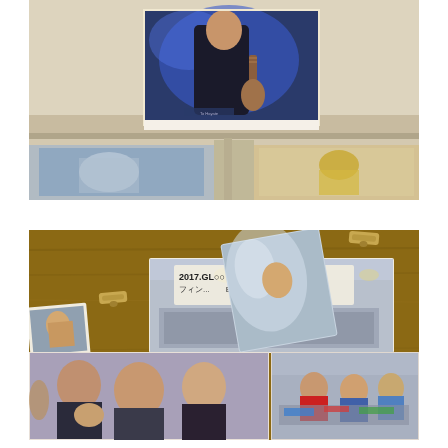[Figure (photo): Top photo: A printed photograph of a young Asian man playing guitar on stage, wearing a black shirt, against a blue-lit background. The photo is propped up on a shelf or ledge with other blurred photos visible below it in a room with beige walls.]
[Figure (photo): Bottom photo collage: Multiple photographs arranged on a wooden surface, some held with wooden clothespins. Includes a concert/fan event photo with a large crowd, a banner reading '2017.GL... ロッテホテルCNBLUE BUSAN~Glory days~', small Polaroid-style photos of band members, and group shots of CNBLUE members with fans at the event.]